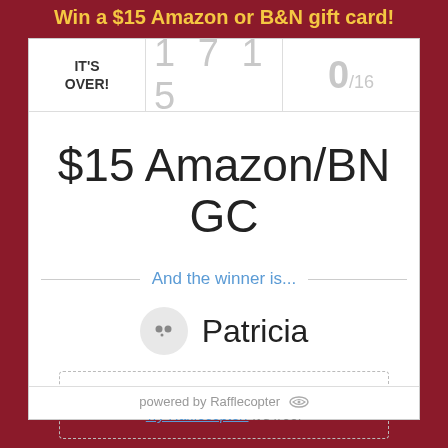Win a $15 Amazon or B&N gift card!
IT'S OVER!
1 7 1 5
0/16
$15 Amazon/BN GC
And the winner is...
Patricia
Do you run giveaways, too? Try Rafflecopter! It's free.
powered by Rafflecopter